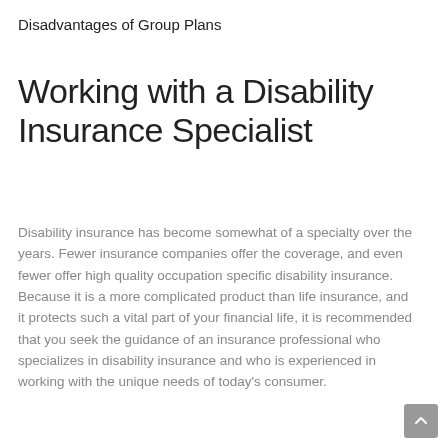Disadvantages of Group Plans
Working with a Disability Insurance Specialist
Disability insurance has become somewhat of a specialty over the years. Fewer insurance companies offer the coverage, and even fewer offer high quality occupation specific disability insurance. Because it is a more complicated product than life insurance, and it protects such a vital part of your financial life, it is recommended that you seek the guidance of an insurance professional who specializes in disability insurance and who is experienced in working with the unique needs of today's consumer.